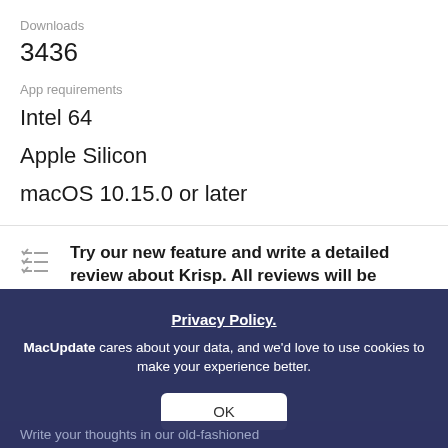Downloads
3436
App requirements
Intel 64
Apple Silicon
macOS 10.15.0 or later
Try our new feature and write a detailed review about Krisp. All reviews will be posted soon.
Write review
Privacy Policy.
MacUpdate cares about your data, and we'd love to use cookies to make your experience better.
OK
Write your thoughts in our old-fashioned